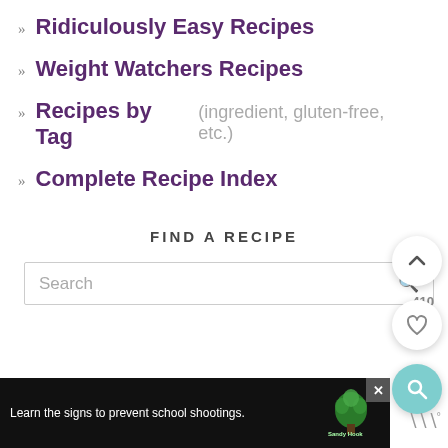Ridiculously Easy Recipes
Weight Watchers Recipes
Recipes by Tag (ingredient, gluten-free, etc.)
Complete Recipe Index
FIND A RECIPE
Search
ALLERGENS
[Figure (screenshot): Ad banner: Learn the signs to prevent school shootings. Sandy Hook Promise logo. Close button X. Brand logo top right showing three lines and a degree symbol.]